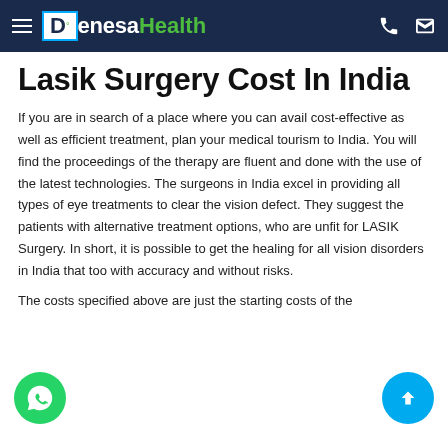DenesaHealth
Lasik Surgery Cost In India
If you are in search of a place where you can avail cost-effective as well as efficient treatment, plan your medical tourism to India. You will find the proceedings of the therapy are fluent and done with the use of the latest technologies. The surgeons in India excel in providing all types of eye treatments to clear the vision defect. They suggest the patients with alternative treatment options, who are unfit for LASIK Surgery. In short, it is possible to get the healing for all vision disorders in India that too with accuracy and without risks.
The costs specified above are just the starting costs of the